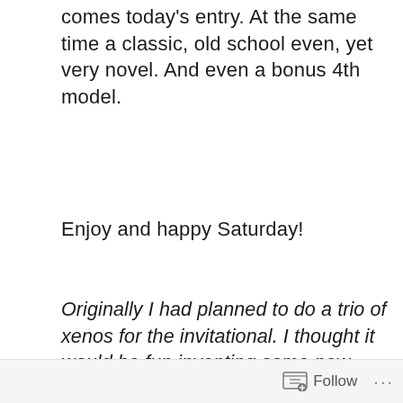comes today's entry. At the same time a classic, old school even, yet very novel. And even a bonus 4th model.
Enjoy and happy Saturday!
Originally I had planned to do a trio of xenos for the invitational. I thought it would be fun inventing some new alien races that still felt part of the grimdark 40k universe.  I also wanted to include a model based on the impressive – and at the time spanking new – skaven stormfiends.
Follow ···